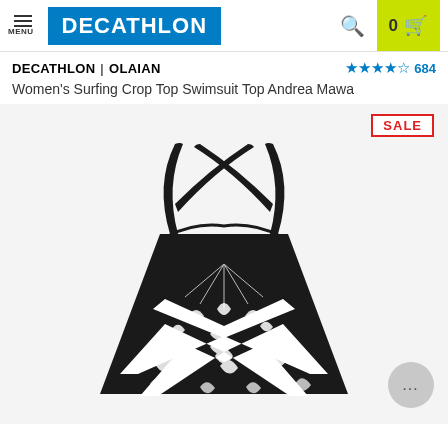MENU | DECATHLON | Search | Cart 0
DECATHLON | OLAIAN ★★★★½ 684
Women's Surfing Crop Top Swimsuit Top Andrea Mawa
[Figure (photo): Women's surfing crop top swimsuit with black and white tropical leaf chevron pattern, cross-back straps design. SALE badge visible in top right corner.]